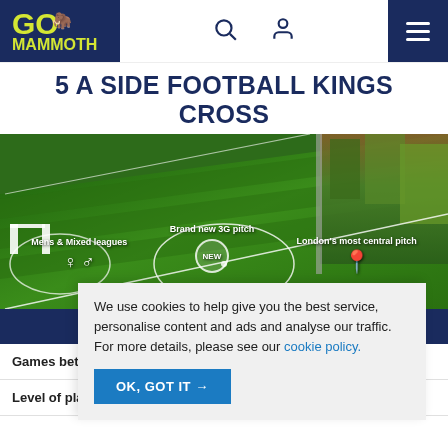[Figure (logo): Go Mammoth logo on dark navy background with yellow text and mammoth icon]
5 A SIDE FOOTBALL KINGS CROSS
[Figure (photo): Aerial view of a 5-a-side football pitch with artificial turf, goal posts, and surrounding greenery. Overlaid text labels: 'Mens & Mixed leagues', 'Brand new 3G pitch' (with NEW badge), 'London's most central pitch' (with location pin icon).]
| MOND... |
| --- |
| Games betw... |
| Level of pla... |
We use cookies to help give you the best service, personalise content and ads and analyse our traffic. For more details, please see our cookie policy.